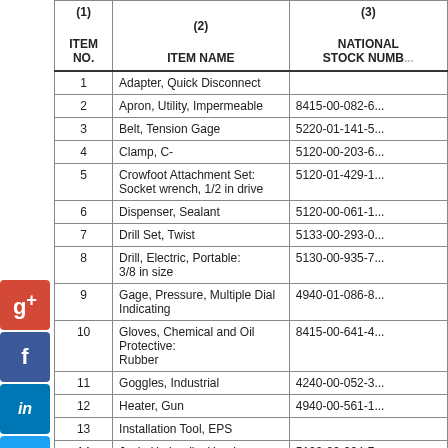| (1)
ITEM NO. | (2)
ITEM NAME | (3)
NATIONAL STOCK NUMBER |
| --- | --- | --- |
| 1 | Adapter, Quick Disconnect |  |
| 2 | Apron, Utility, Impermeable | 8415-00-082-6... |
| 3 | Belt, Tension Gage | 5220-01-141-5... |
| 4 | Clamp, C- | 5120-00-203-6... |
| 5 | Crowfoot Attachment Set:
Socket wrench, 1/2 in drive | 5120-01-429-1... |
| 6 | Dispenser, Sealant | 5120-00-061-1... |
| 7 | Drill Set, Twist | 5133-00-293-0... |
| 8 | Drill, Electric, Portable:
3/8 in size | 5130-00-935-7... |
| 9 | Gage, Pressure, Multiple Dial Indicating | 4940-01-086-8... |
| 10 | Gloves, Chemical and Oil Protective:
Rubber | 8415-00-641-4... |
| 11 | Goggles, Industrial | 4240-00-052-3... |
| 12 | Heater, Gun | 4940-00-561-1... |
| 13 | Installation Tool, EPS |  |
| 14 | Jack, Hydraulic, Hand: | 5120-00-224-7... |
[Figure (other): Social media icon buttons: Google+, Facebook, LinkedIn, Twitter, Google Friend Connect, StumbleUpon]